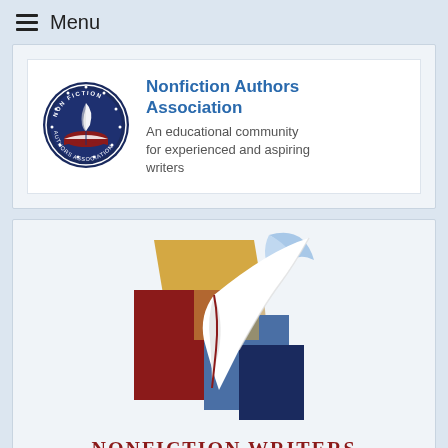Menu
[Figure (logo): Nonfiction Authors Association circular seal logo in navy blue with a quill and open book]
Nonfiction Authors Association
An educational community for experienced and aspiring writers
[Figure (logo): Nonfiction Writers Conference logo with overlapping colored book shapes (gold, dark red, blue, navy) and a white feather quill, with text NONFICTION WRITERS CONFERENCE.COM below]